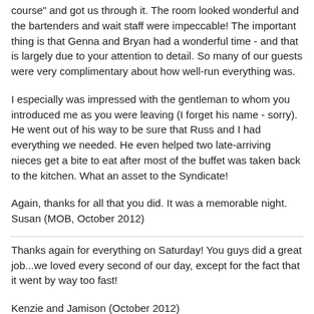course" and got us through it. The room looked wonderful and the bartenders and wait staff were impeccable! The important thing is that Genna and Bryan had a wonderful time - and that is largely due to your attention to detail. So many of our guests were very complimentary about how well-run everything was.
I especially was impressed with the gentleman to whom you introduced me as you were leaving (I forget his name - sorry). He went out of his way to be sure that Russ and I had everything we needed. He even helped two late-arriving nieces get a bite to eat after most of the buffet was taken back to the kitchen. What an asset to the Syndicate!
Again, thanks for all that you did. It was a memorable night. Susan (MOB, October 2012)
Thanks again for everything on Saturday! You guys did a great job...we loved every second of our day, except for the fact that it went by way too fast!
Kenzie and Jamison (October 2012)